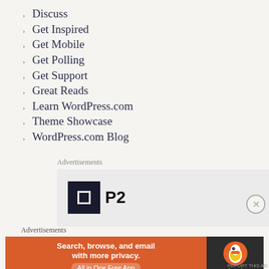Discuss
Get Inspired
Get Mobile
Get Polling
Get Support
Great Reads
Learn WordPress.com
Theme Showcase
WordPress.com Blog
Advertisements
[Figure (logo): P2 logo — dark square with white inner square border and P2 text]
Advertisements
[Figure (screenshot): DuckDuckGo advertisement: orange left panel with text 'Search, browse, and email with more privacy. All in One Free App', dark right panel with DuckDuckGo duck logo and brand name]